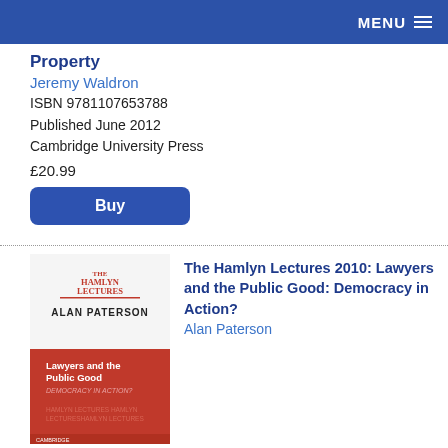MENU
Property
Jeremy Waldron
ISBN 9781107653788
Published June 2012
Cambridge University Press
£20.99
Buy
[Figure (illustration): Book cover of 'The Hamlyn Lectures 2010: Lawyers and the Public Good: Democracy in Action?' by Alan Paterson. Top half white with red 'THE HAMLYN LECTURES' title and 'ALAN PATERSON' in black. Bottom half red/orange with title 'Lawyers and the Public Good DEMOCRACY IN ACTION?' and repeated 'HAMLYN LECTURES' text pattern.]
The Hamlyn Lectures 2010: Lawyers and the Public Good: Democracy in Action?
Alan Paterson